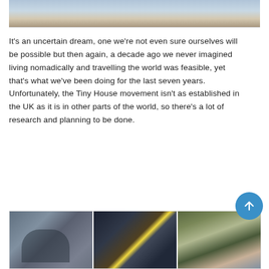[Figure (photo): Top portion of an outdoor photo showing water and ground/rocks]
It’s an uncertain dream, one we’re not even sure ourselves will be possible but then again, a decade ago we never imagined living nomadically and travelling the world was feasible, yet that’s what we’ve been doing for the last seven years. Unfortunately, the Tiny House movement isn’t as established in the UK as it is in other parts of the world, so there’s a lot of research and planning to be done.
[Figure (photo): Three photos side by side: left shows group of people in front of a domed building, center shows a street scene with string lights at night, right shows a family group outdoors in winter]